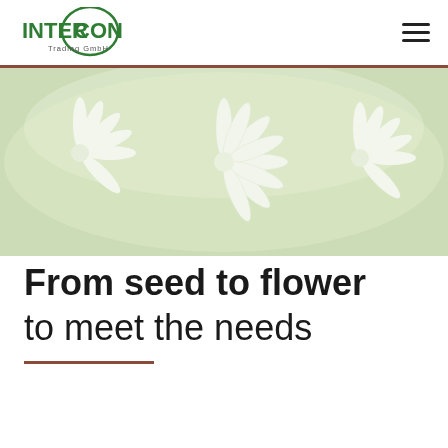INTERCON Trading GmbH
[Figure (photo): Close-up photograph of white star-shaped flowers with green background, likely wild garlic or allium flowers in bloom.]
From seed to flower to meet the needs